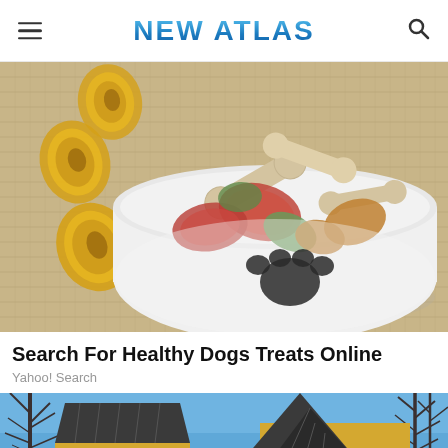NEW ATLAS
[Figure (photo): A white ceramic dog bowl with a paw print on the side, filled with assorted dog bone treats, biscuits, and rawhide chews in various colors (beige, red, green, orange), placed on a burlap surface with yellow rolled rawhide chews to the left.]
Search For Healthy Dogs Treats Online
Yahoo! Search
[Figure (photo): A yellow house with a dark metal/solar panel roof surrounded by bare winter trees against a blue sky.]